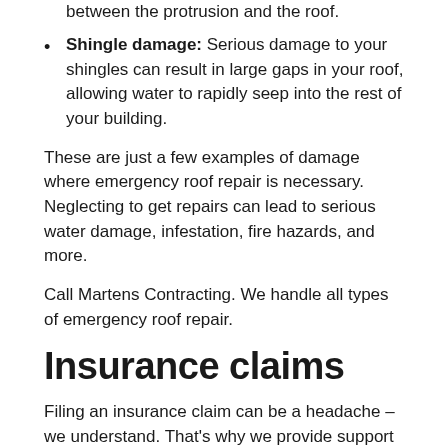between the protrusion and the roof.
Shingle damage: Serious damage to your shingles can result in large gaps in your roof, allowing water to rapidly seep into the rest of your building.
These are just a few examples of damage where emergency roof repair is necessary. Neglecting to get repairs can lead to serious water damage, infestation, fire hazards, and more.
Call Martens Contracting. We handle all types of emergency roof repair.
Insurance claims
Filing an insurance claim can be a headache – we understand. That's why we provide support to help